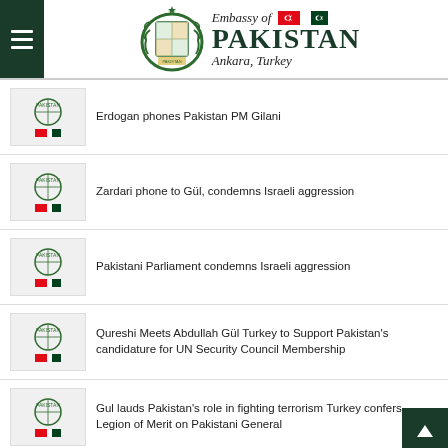Embassy of PAKISTAN Ankara, Turkey
Erdogan phones Pakistan PM Gilani
Zardari phone to Gül, condemns Israeli aggression
Pakistani Parliament condemns Israeli aggression
Qureshi Meets Abdullah Gül Turkey to Support Pakistan's candidature for UN Security Council Membership
Gul lauds Pakistan's role in fighting terrorism Turkey confers Legion of Merit on Pakistani General